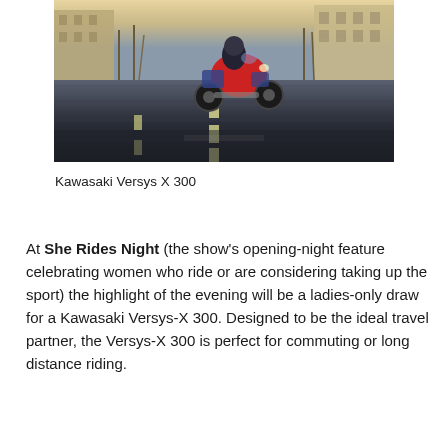[Figure (photo): A motorcyclist riding a red Kawasaki Versys X 300 on a wet urban street with buildings on either side, motion blur on the road surface.]
Kawasaki Versys X 300
At She Rides Night (the show's opening-night feature celebrating women who ride or are considering taking up the sport) the highlight of the evening will be a ladies-only draw for a Kawasaki Versys-X 300. Designed to be the ideal travel partner, the Versys-X 300 is perfect for commuting or long distance riding.